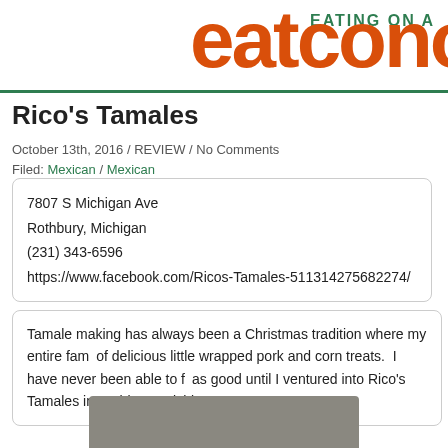eatcono EATING ON A
Rico's Tamales
October 13th, 2016 / REVIEW / No Comments
Filed: Mexican / Mexican
7807 S Michigan Ave
Rothbury, Michigan
(231) 343-6596
https://www.facebook.com/Ricos-Tamales-511314275682274/
Tamale making has always been a Christmas tradition where my entire fam... of delicious little wrapped pork and corn treats.  I have never been able to find as good until I ventured into Rico's Tamales in Rothbury, Michigan.
[Figure (photo): Partial photo of food, cropped at bottom of page]